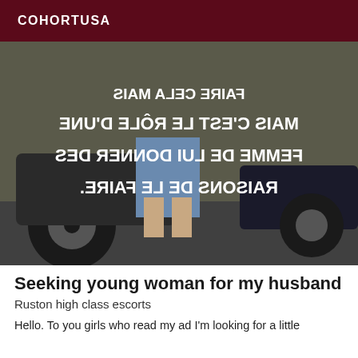COHORTUSA
[Figure (photo): Photo of people near cars with mirrored/reversed French text overlay in large white bold font reading: 'MAIS C'EST LE RÔLE D'UNE FEMME DE LUI DONNER DES RAISONS DE LE FAIRE.']
Seeking young woman for my husband
Ruston high class escorts
Hello. To you girls who read my ad I'm looking for a little